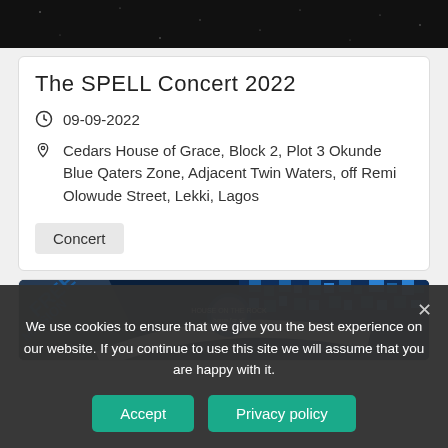[Figure (photo): Dark starfield/night sky banner image at top of page]
The SPELL Concert 2022
09-09-2022
Cedars House of Grace, Block 2, Plot 3 Okunde Blue Qaters Zone, Adjacent Twin Waters, off Remi Olowude Street, Lekki, Lagos
Concert
[Figure (photo): Event banner image with FREE ADMISSION text and House on the Rock logo with blue African pattern design]
We use cookies to ensure that we give you the best experience on our website. If you continue to use this site we will assume that you are happy with it.
Accept
Privacy policy